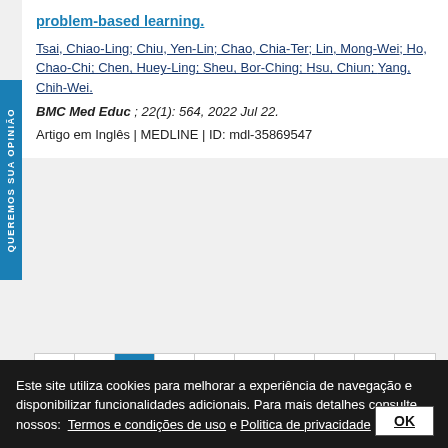problem-based learning.
Tsai, Chiao-Ling; Chiu, Yen-Lin; Chao, Chia-Ter; Lin, Mong-Wei; Ho, Chao-Chi; Chen, Huey-Ling; Sheu, Bor-Ching; Hsu, Chiun; Yang, Chih-Wei.
BMC Med Educ ; 22(1): 564, 2022 Jul 22. Artigo em Inglês | MEDLINE | ID: mdl-35869547
[Figure (other): Pagination navigation with buttons: first page (<<), previous (<), pages 1 (active/highlighted in blue), 2, 3, 4, 5, 6, next (>), last (>>)]
Este site utiliza cookies para melhorar a experiência de navegação e disponibilizar funcionalidades adicionais. Para mais detalhes consulte nossos: Termos e condições de uso e Politica de privacidade